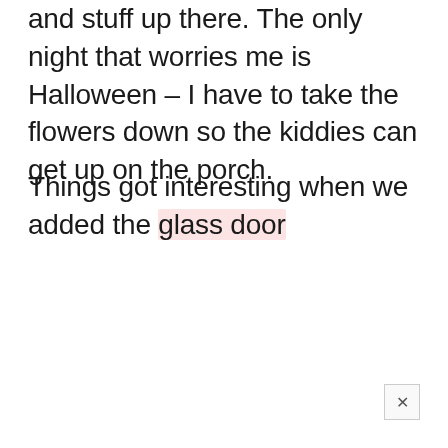and stuff up there. The only night that worries me is Halloween – I have to take the flowers down so the kiddies can get up on the porch.
Things got interesting when we added the glass door